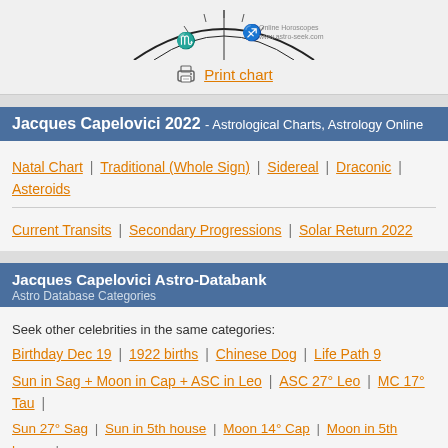[Figure (illustration): Partial astrological natal chart wheel showing zodiac symbols for Scorpio and Sagittarius, with a watermark 'Online Horoscopes www.astro-seek.com']
Print chart
Jacques Capelovici 2022 - Astrological Charts, Astrology Online
Natal Chart | Traditional (Whole Sign) | Sidereal | Draconic | Asteroids
Current Transits | Secondary Progressions | Solar Return 2022
Jacques Capelovici Astro-Databank
Astro Database Categories
Seek other celebrities in the same categories:
Birthday Dec 19 | 1922 births | Chinese Dog | Life Path 9
Sun in Sag + Moon in Cap + ASC in Leo | ASC 27° Leo | MC 17° Tau |
Sun 27° Sag | Sun in 5th house | Moon 14° Cap | Moon in 5th house | Mercury 4° Cap | Mercury in 5th house | Venus 24° Sco |